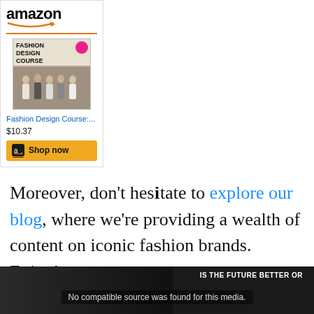[Figure (screenshot): Amazon widget showing a Fashion Design Course book product with logo, book cover image, title link, price $10.37, and a Shop now button]
Moreover, don't hesitate to explore our blog, where we're providing a wealth of content on iconic fashion brands. Enjoy!
[Figure (screenshot): Video placeholder with dark background showing 'IS THE FUTURE BETTER OR' text and 'No compatible source was found for this media.' message]